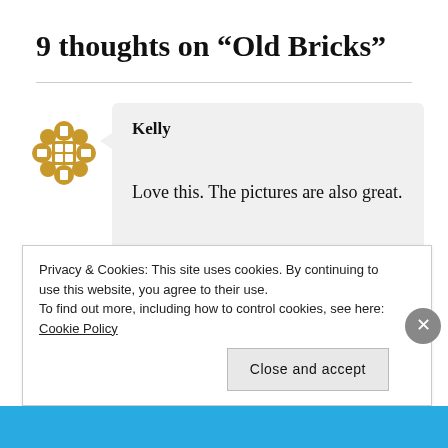9 thoughts on “Old Bricks”
Kelly
Love this. The pictures are also great.
Privacy & Cookies: This site uses cookies. By continuing to use this website, you agree to their use.
To find out more, including how to control cookies, see here: Cookie Policy
Close and accept